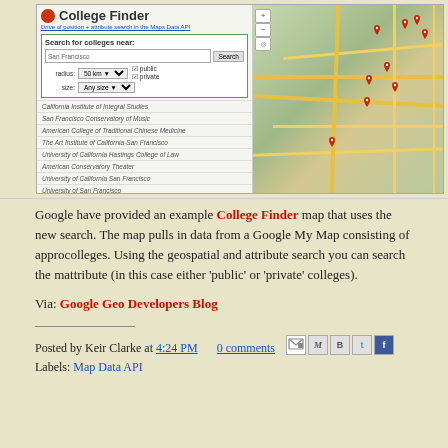[Figure (screenshot): Screenshot of a 'College Finder' web application showing a search interface on the left with a list of San Francisco colleges, and a Google Map on the right with red location pins marking college locations.]
Google have provided an example College Finder map that uses the new geospatial search. The map pulls in data from a Google My Map consisting of approximately 4,000 colleges. Using the geospatial and attribute search you can search the map by attribute (in this case either 'public' or 'private' colleges).
Via: Google Geo Developers Blog
Posted by Keir Clarke at 4:24 PM   0 comments
Labels: Map Data API